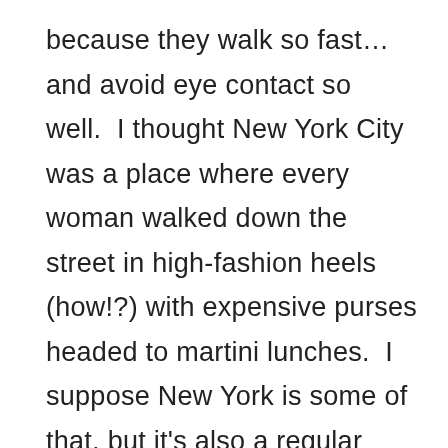because they walk so fast… and avoid eye contact so well.  I thought New York City was a place where every woman walked down the street in high-fashion heels (how!?) with expensive purses headed to martini lunches.  I suppose New York is some of that, but it's also a regular place where lots of people have no idea what they're doing, they're walking around in flats, and clutching their iPhones with their maps opened just like me.  And then there are these almost quiet moments on 28th between Broadway and 6th where I'm like… look at this magical life!  God bless it...